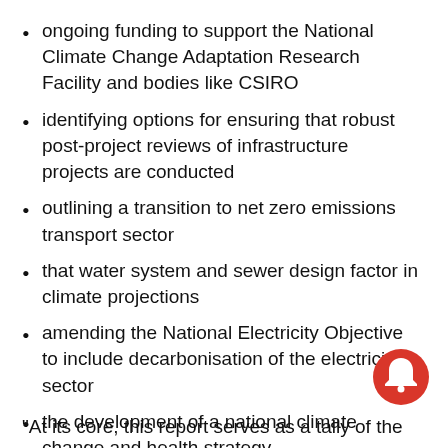ongoing funding to support the National Climate Change Adaptation Research Facility and bodies like CSIRO
identifying options for ensuring that robust post-project reviews of infrastructure projects are conducted
outlining a transition to net zero emissions transport sector
that water system and sewer design factor in climate projections
amending the National Electricity Objective to include decarbonisation of the electricity sector
the development of a national climate change and health strategy
“At its core, this report serves as a tally of the